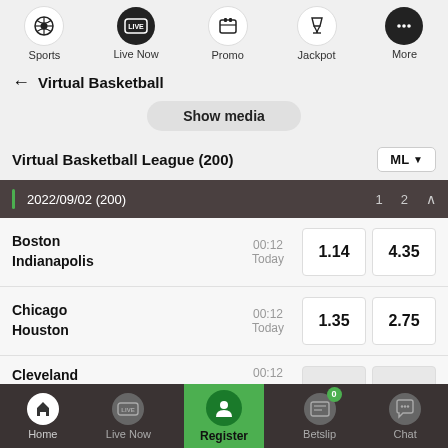Sports | Live Now | Promo | Jackpot | More
← Virtual Basketball
Show media
Virtual Basketball League (200)
2022/09/02 (200)  1  2
Boston Indianapolis  00:12 Today  1.14  4.35
Chicago Houston  00:12 Today  1.35  2.75
Cleveland  00:12
Home | Live Now | Register | Betslip | Chat